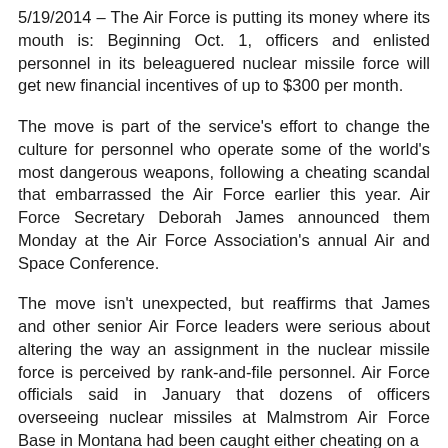5/19/2014 – The Air Force is putting its money where its mouth is: Beginning Oct. 1, officers and enlisted personnel in its beleaguered nuclear missile force will get new financial incentives of up to $300 per month.
The move is part of the service's effort to change the culture for personnel who operate some of the world's most dangerous weapons, following a cheating scandal that embarrassed the Air Force earlier this year. Air Force Secretary Deborah James announced them Monday at the Air Force Association's annual Air and Space Conference.
The move isn't unexpected, but reaffirms that James and other senior Air Force leaders were serious about altering the way an assignment in the nuclear missile force is perceived by rank-and-file personnel. Air Force officials said in January that dozens of officers overseeing nuclear missiles at Malmstrom Air Force Base in Montana had been caught either cheating on a